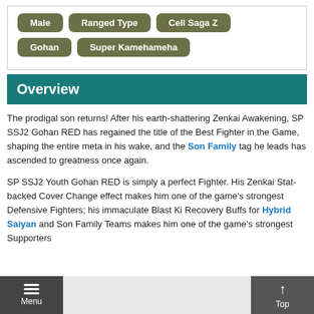Male
Ranged Type
Cell Saga Z
Gohan
Super Kamehameha
Overview
The prodigal son returns! After his earth-shattering Zenkai Awakening, SP SSJ2 Gohan RED has regained the title of the Best Fighter in the Game, shaping the entire meta in his wake, and the Son Family tag he leads has ascended to greatness once again.
SP SSJ2 Youth Gohan RED is simply a perfect Fighter. His Zenkai Stat-backed Cover Change effect makes him one of the game's strongest Defensive Fighters; his immaculate Blast Ki Recovery Buffs for Hybrid Saiyan and Son Family Teams makes him one of the game's strongest Supporters